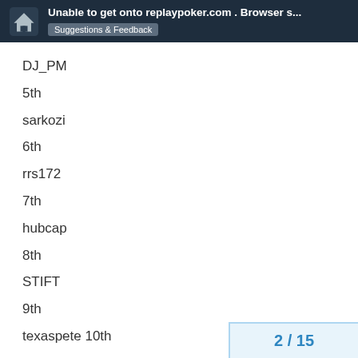Unable to get onto replaypoker.com . Browser s... | Suggestions & Feedback
DJ_PM
5th
sarkozi
6th
rrs172
7th
hubcap
8th
STIFT
9th
texaspete 10th
2 / 15